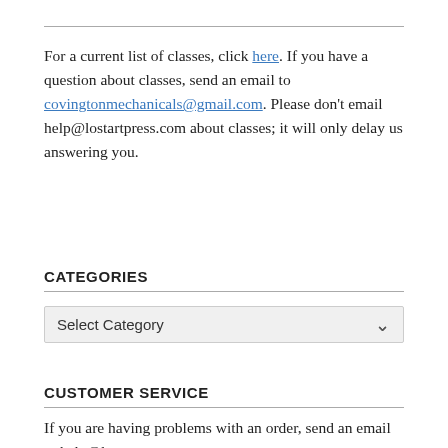For a current list of classes, click here. If you have a question about classes, send an email to covingtonmechanicals@gmail.com. Please don't email help@lostartpress.com about classes; it will only delay us answering you.
CATEGORIES
Select Category
CUSTOMER SERVICE
If you are having problems with an order, send an email to help@lostartpress.com